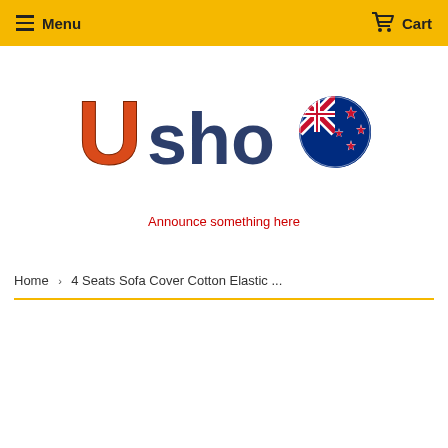Menu  Cart
[Figure (logo): Ushop logo with red U letter and dark text 'shop', alongside New Zealand flag circle]
Announce something here
Home  ›  4 Seats Sofa Cover Cotton Elastic ...